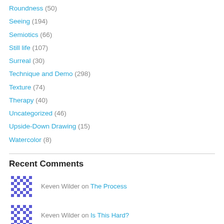Roundness (50)
Seeing (194)
Semiotics (66)
Still life (107)
Surreal (30)
Technique and Demo (298)
Texture (74)
Therapy (40)
Uncategorized (46)
Upside-Down Drawing (15)
Watercolor (8)
Recent Comments
Keven Wilder on The Process
Keven Wilder on Is This Hard?